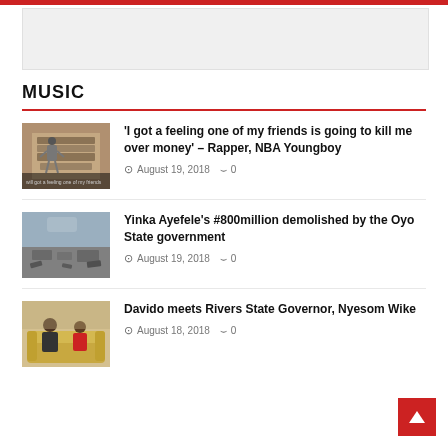[Figure (other): Advertisement banner placeholder]
MUSIC
[Figure (photo): Rapper NBA Youngboy standing in front of stacked money]
'I got a feeling one of my friends is going to kill me over money' – Rapper, NBA Youngboy
August 19, 2018  0
[Figure (photo): Demolished building rubble, Yinka Ayefele's radio station]
Yinka Ayefele's #800million demolished by the Oyo State government
August 19, 2018  0
[Figure (photo): Davido sitting with Rivers State Governor Nyesom Wike]
Davido meets Rivers State Governor, Nyesom Wike
August 18, 2018  0